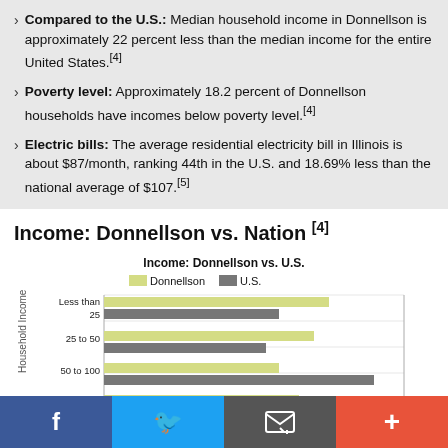Compared to the U.S.: Median household income in Donnellson is approximately 22 percent less than the median income for the entire United States.[4]
Poverty level: Approximately 18.2 percent of Donnellson households have incomes below poverty level.[4]
Electric bills: The average residential electricity bill in Illinois is about $87/month, ranking 44th in the U.S. and 18.69% less than the national average of $107.[5]
Income: Donnellson vs. Nation [4]
[Figure (bar-chart): Income: Donnellson vs. U.S.]